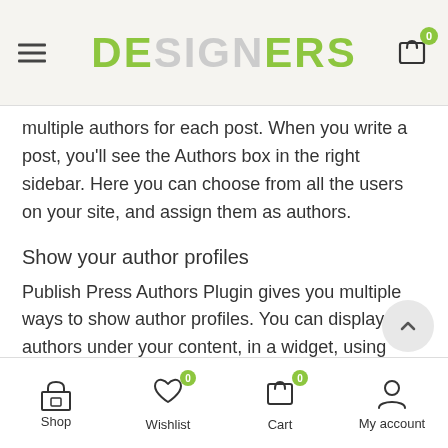DESIGNERS (logo with hamburger menu and cart icon)
multiple authors for each post. When you write a post, you'll see the Authors box in the right sidebar. Here you can choose from all the users on your site, and assign them as authors.
Show your author profiles
Publish Press Authors Plugin gives you multiple ways to show author profiles. You can display authors under your content, in a widget, using shortcodes and more.
Add guest authors
Using Publish Press Authors Plugin, you can create Guest Authors who don't need an account on your site.
Shop | Wishlist | Cart | My account